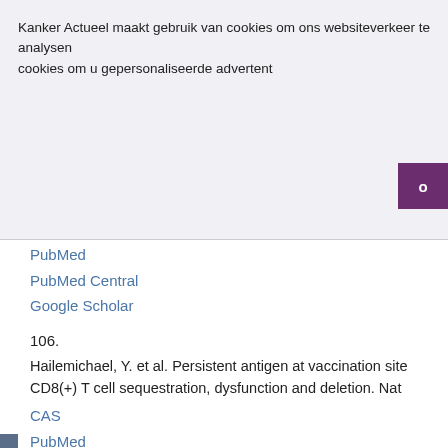Kanker Actueel maakt gebruik van cookies om ons websiteverkeer te analysen cookies om u gepersonaliseerde advertent
PubMed
PubMed Central
Google Scholar
106.
Hailemichael, Y. et al. Persistent antigen at vaccination site CD8(+) T cell sequestration, dysfunction and deletion. Nat
CAS
PubMed
PubMed Central
Article
Google Scholar
107.